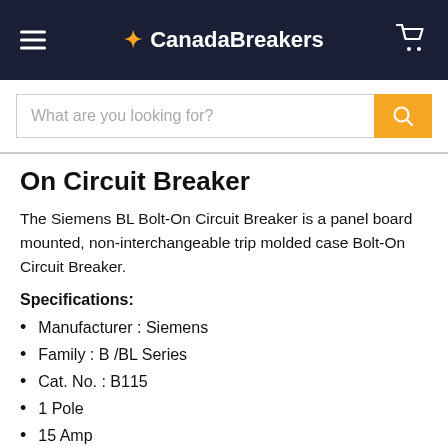CanadaBreakers
On Circuit Breaker
The Siemens BL Bolt-On Circuit Breaker is a panel board mounted, non-interchangeable trip molded case Bolt-On Circuit Breaker.
Specifications:
Manufacturer : Siemens
Family : B /BL Series
Cat. No. : B115
1 Pole
15 Amp
120 Volt